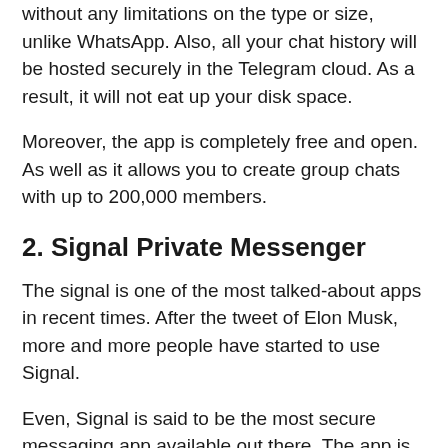without any limitations on the type or size, unlike WhatsApp. Also, all your chat history will be hosted securely in the Telegram cloud. As a result, it will not eat up your disk space.
Moreover, the app is completely free and open. As well as it allows you to create group chats with up to 200,000 members.
2. Signal Private Messenger
The signal is one of the most talked-about apps in recent times. After the tweet of Elon Musk, more and more people have started to use Signal.
Even, Signal is said to be the most secure messaging app available out there. The app is completely free to use and